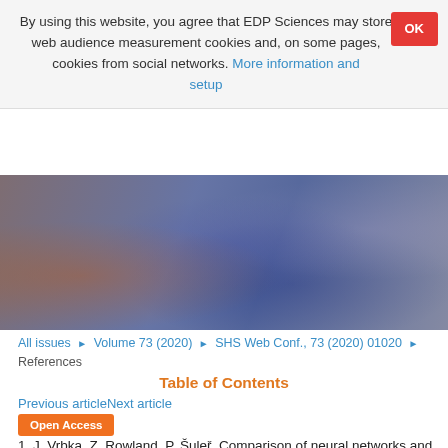By using this website, you agree that EDP Sciences may store web audience measurement cookies and, on some pages, cookies from social networks. More information and setup
[Figure (photo): Hero banner photo showing a crowd of people, blurred, with warm and cool tones]
All issues ▶ Volume 73 (2020) ▶ SHS Web Conf., 73 (2020) 01020 ▶
References
Table of Contents
Previous articleNext article
Open Access
1. J. Vrbka, Z. Rowland, P. Šuleř, Comparison of neural networks and regression time series in estimating the development of the EU and the PRC trade balance. SHS